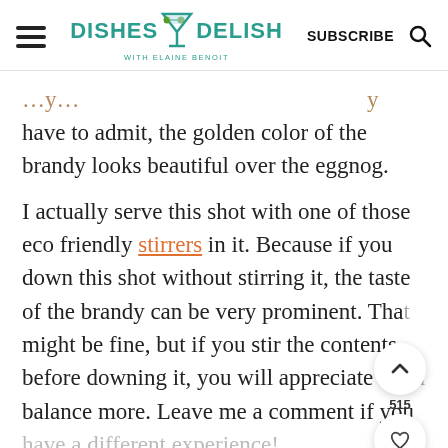DISHES DELISH with ELAINE BENOIT | SUBSCRIBE
have to admit, the golden color of the brandy looks beautiful over the eggnog.
I actually serve this shot with one of those eco friendly stirrers in it. Because if you down this shot without stirring it, the taste of the brandy can be very prominent. That might be fine, but if you stir the contents before downing it, you will appreciate the balance more. Leave me a comment if you have a different experience!